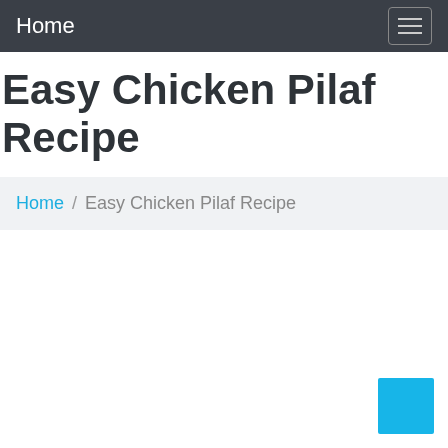Home
Easy Chicken Pilaf Recipe
Home / Easy Chicken Pilaf Recipe